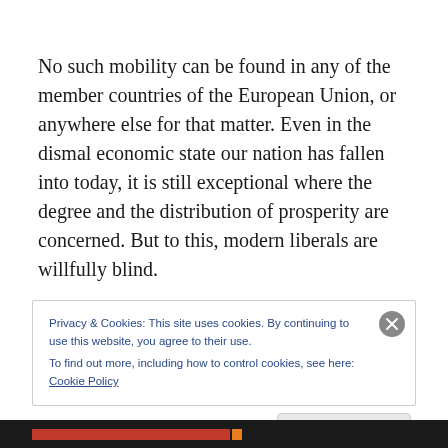No such mobility can be found in any of the member countries of the European Union, or anywhere else for that matter. Even in the dismal economic state our nation has fallen into today, it is still exceptional where the degree and the distribution of prosperity are concerned. But to this, modern liberals are willfully blind.

With all exceptions duly noted, I think it is fair to say that what liberals mainly see when they look at America today
Privacy & Cookies: This site uses cookies. By continuing to use this website, you agree to their use. To find out more, including how to control cookies, see here: Cookie Policy
Close and accept